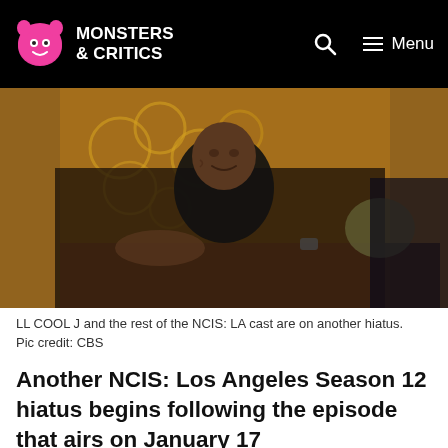MONSTERS & CRITICS
[Figure (photo): LL Cool J smiling, seated on a couch against ornate golden wallpaper backdrop, wearing black turtleneck]
LL COOL J and the rest of the NCIS: LA cast are on another hiatus. Pic credit: CBS
Another NCIS: Los Angeles Season 12 hiatus begins following the episode that airs on January 17